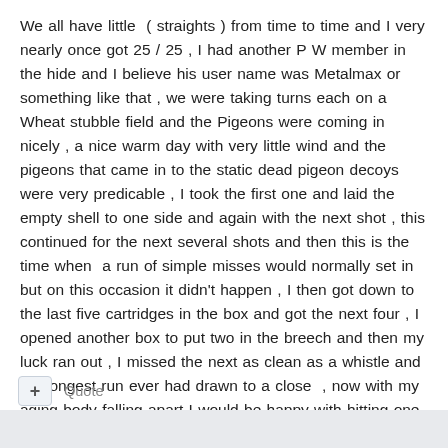We all have little  ( straights ) from time to time and I very nearly once got 25 / 25 , I had another P W member in the hide and I believe his user name was Metalmax or something like that , we were taking turns each on a Wheat stubble field and the Pigeons were coming in nicely , a nice warm day with very little wind and the pigeons that came in to the static dead pigeon decoys were very predicable , I took the first one and laid the empty shell to one side and again with the next shot , this continued for the next several shots and then this is the time when  a run of simple misses would normally set in but on this occasion it didn't happen , I then got down to the last five cartridges in the box and got the next four , I opened another box to put two in the breech and then my luck ran out , I missed the next as clean as a whistle and my longest run ever had drawn to a close  , now with my aging body falling apart I would be happy with hitting one now and again , still , we always say it the taking part that counts 😄
+ Quote